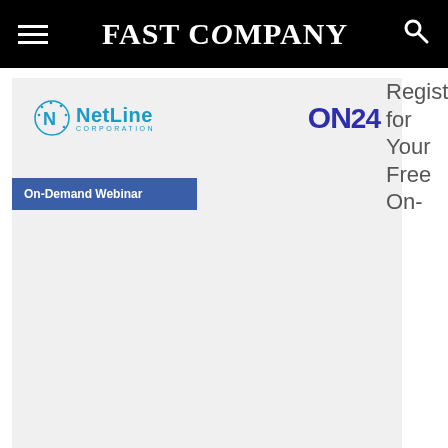FAST COMPANY
[Figure (screenshot): Fast Company website screenshot showing a NetLine Corporation and ON24 sponsored webinar ad card with a light gray background. The ad features the NetLine Corporation logo on the left and ON24 logo on the right, with a blue banner reading 'On-Demand Webinar' partially visible at the bottom of the header area.]
Register for Your Free On-